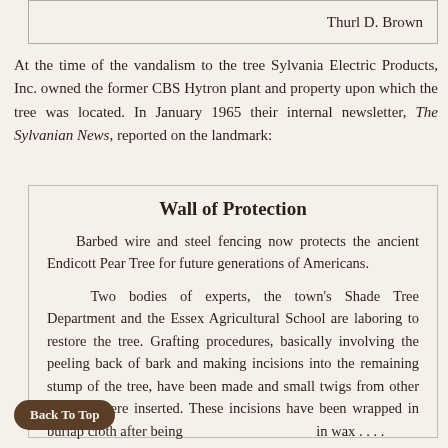Thurl D. Brown
At the time of the vandalism to the tree Sylvania Electric Products, Inc. owned the former CBS Hytron plant and property upon which the tree was located. In January 1965 their internal newsletter, The Sylvanian News, reported on the landmark:
Wall of Protection
Barbed wire and steel fencing now protects the ancient Endicott Pear Tree for future generations of Americans.
Two bodies of experts, the town's Shade Tree Department and the Essex Agricultural School are laboring to restore the tree. Grafting procedures, basically involving the peeling back of bark and making incisions into the remaining stump of the tree, have been made and small twigs from other portions were inserted. These incisions have been wrapped in burlap cloth after being in wax . . . .
Back To Top